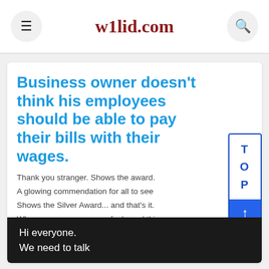w1lid.com
Business owner doesn't think his employees should be able to pay their bills with their wages.
Thank you stranger. Shows the award. A glowing commendation for all to see Shows the Silver Award... and that's it. When you come across a feel-good thing.
[Figure (screenshot): Dark background screenshot with white text reading 'Hi everyone. We need to talk']